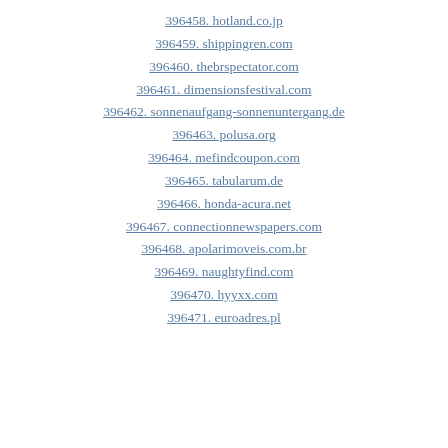396458. hotland.co.jp
396459. shippingren.com
396460. thebrspectator.com
396461. dimensionsfestival.com
396462. sonnenaufgang-sonnenuntergang.de
396463. polusa.org
396464. mefindcoupon.com
396465. tabularum.de
396466. honda-acura.net
396467. connectionnewspapers.com
396468. apolarimoveis.com.br
396469. naughtyfind.com
396470. hyyxx.com
396471. euroadres.pl